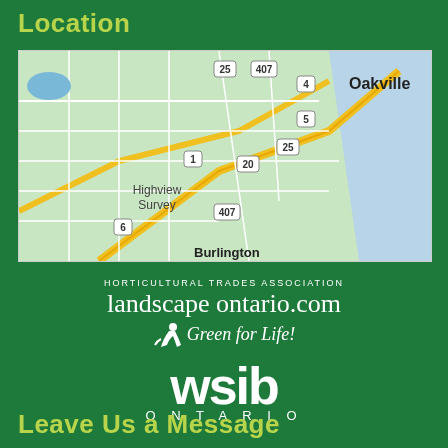Location
[Figure (map): Street map showing Oakville, Burlington area in Ontario, Canada with highways 407, 25, 4, 5, 1, 20, 6 marked. Shows Highview Survey area. Lake Ontario visible on right side.]
[Figure (logo): Landscape Ontario Horticultural Trades Association logo with text 'landscapeontario.com' and 'Green for Life!' slogan]
[Figure (logo): WSIB Ontario logo in white text]
Leave Us a Message